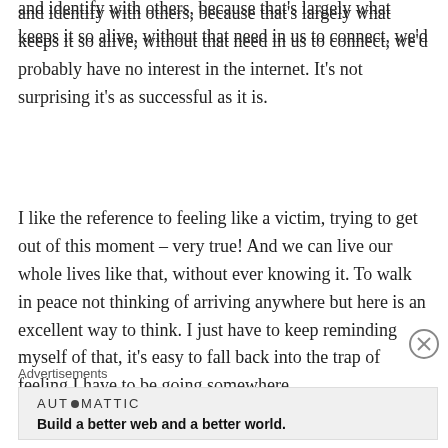and identify with others, because that's largely what keeps it so alive, without that need in us to connect, we'd probably have no interest in the internet. It's not surprising it's as successful as it is.
I like the reference to feeling like a victim, trying to get out of this moment – very true! And we can live our whole lives like that, without ever knowing it. To walk in peace not thinking of arriving anywhere but here is an excellent way to think. I just have to keep reminding myself of that, it's easy to fall back into the trap of feeling I have to be going somewhere.
Advertisements
[Figure (other): Advertisement banner for Automattic with logo and tagline: Build a better web and a better world.]